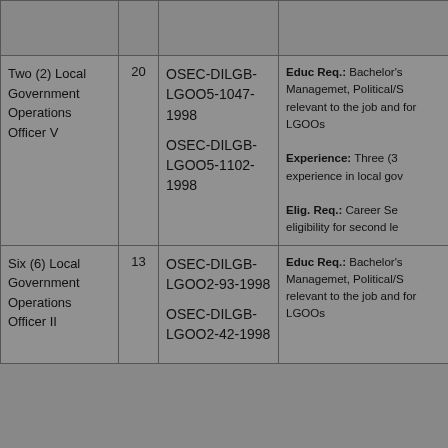| Position | Grade | Item No. | Qualifications |
| --- | --- | --- | --- |
| Two (2) Local Government Operations Officer V | 20 | OSEC-DILGB-LGOO5-1047-1998
OSEC-DILGB-LGOO5-1102-1998 | Educ Req.: Bachelor's ... Managemet, Political/S... relevant to the job and ... for LGOOs
Experience: Three (3... experience in local gov...
Elig. Req.: Career Se... eligibility for second le... |
| Six (6) Local Government Operations Officer II | 13 | OSEC-DILGB-LGOO2-93-1998
OSEC-DILGB-LGOO2-42-1998 | Educ Req.: Bachelor's ... Managemet, Political/S... relevant to the job and ... for LGOOs |